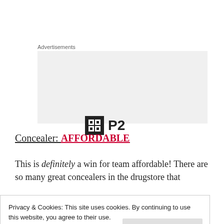Advertisements
[Figure (logo): P2 logo — black square icon with a grid/window symbol on the left and bold text 'P2' on the right, on a light grey background advertisement box]
Concealer: AFFORDABLE
This is definitely a win for team affordable! There are so many great concealers in the drugstore that
Privacy & Cookies: This site uses cookies. By continuing to use this website, you agree to their use.
To find out more, including how to control cookies, see here: Cookie Policy